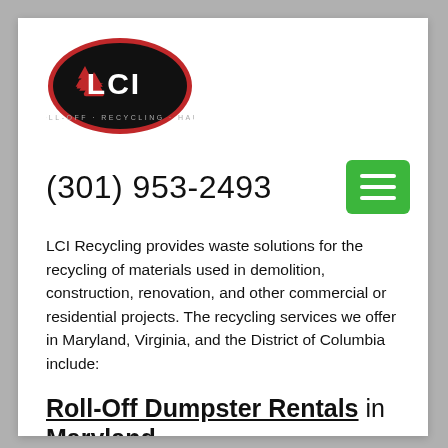[Figure (logo): LCI logo: black oval with red border, recycling symbol in red, text 'LCI' in white, smaller text around bottom of oval]
(301) 953-2493
LCI Recycling provides waste solutions for the recycling of materials used in demolition, construction, renovation, and other commercial or residential projects. The recycling services we offer in Maryland, Virginia, and the District of Columbia include:
Roll-Off Dumpster Rentals in Maryland